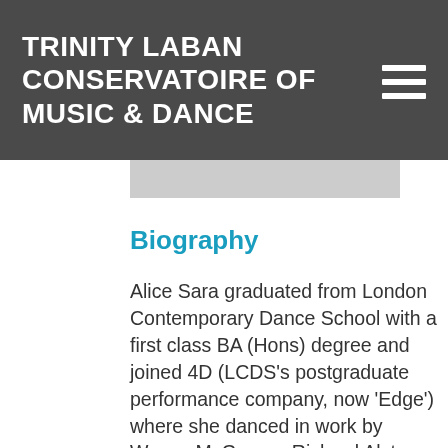TRINITY LABAN CONSERVATOIRE OF MUSIC & DANCE
Biography
Alice Sara graduated from London Contemporary Dance School with a first class BA (Hons) degree and joined 4D (LCDS's postgraduate performance company, now 'Edge') where she danced in work by Wayne McGregor, Richard Alston, Yael Flexer and Stephen Hughes, and went on to complete her MA in 2000. On graduating, she became a core member of 'seven sisters group', co-devising and performing in major projects in varied